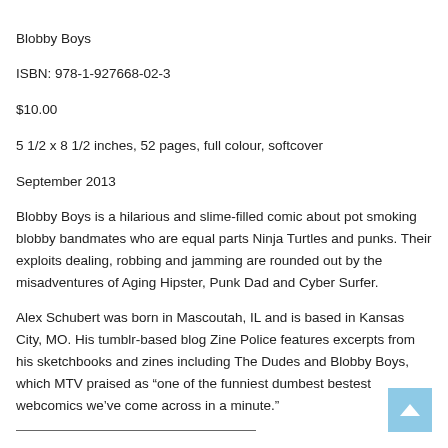Blobby Boys
ISBN: 978-1-927668-02-3
$10.00
5 1/2 x 8 1/2 inches, 52 pages, full colour, softcover
September 2013
Blobby Boys is a hilarious and slime-filled comic about pot smoking blobby bandmates who are equal parts Ninja Turtles and punks. Their exploits dealing, robbing and jamming are rounded out by the misadventures of Aging Hipster, Punk Dad and Cyber Surfer.
Alex Schubert was born in Mascoutah, IL and is based in Kansas City, MO. His tumblr-based blog Zine Police features excerpts from his sketchbooks and zines including The Dudes and Blobby Boys, which MTV praised as “one of the funniest dumbest bestest webcomics we’ve come across in a minute.”